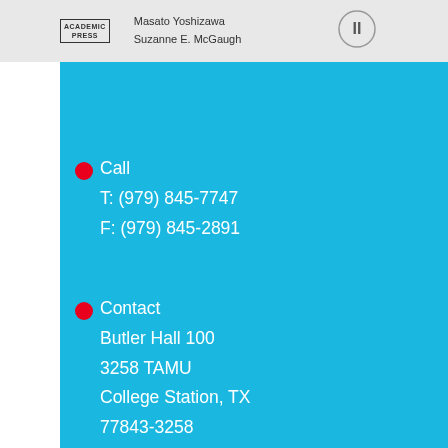Academic Press  Masato Yoshizawa  Suzanne E. McGaugh
Call
T: (979) 845-7747
F: (979) 845-2891
Contact
Butler Hall 100
3258 TAMU
College Station, TX
77843-3258

KeeneA@tamu.edu